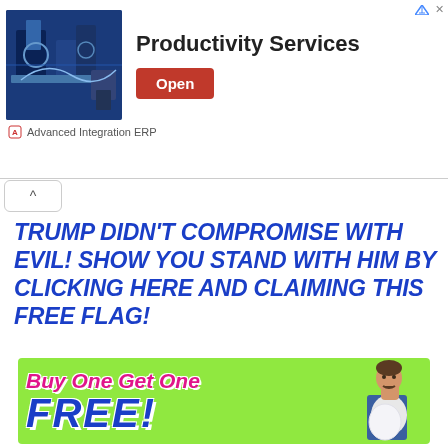[Figure (screenshot): Advertisement banner for 'Advanced Integration ERP' showing industrial machinery image on left, 'Productivity Services' text in bold center, and red 'Open' button on right. Small ad indicator icons in top-right corner.]
Advanced Integration ERP
^
TRUMP DIDN'T COMPROMISE WITH EVIL! SHOW YOU STAND WITH HIM BY CLICKING HERE AND CLAIMING THIS FREE FLAG!
[Figure (advertisement): MyPillow 'Buy One Get One FREE!' advertisement with green background, pink bold italic text 'Buy One Get One', blue bold italic text 'FREE!', and a man holding a pillow on the right side.]